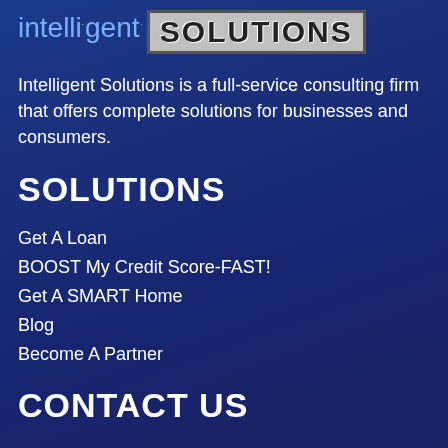[Figure (logo): Intelligent Solutions logo: 'intelligent' in light blue with yellow dots, 'SOLUTIONS' in bold dark text on a grey box with border]
Intelligent Solutions is a full-service consulting firm that offers complete solutions for businesses and consumers.
SOLUTIONS
Get A Loan
BOOST My Credit Score-FAST!
Get A SMART Home
Blog
Become A Partner
CONTACT US